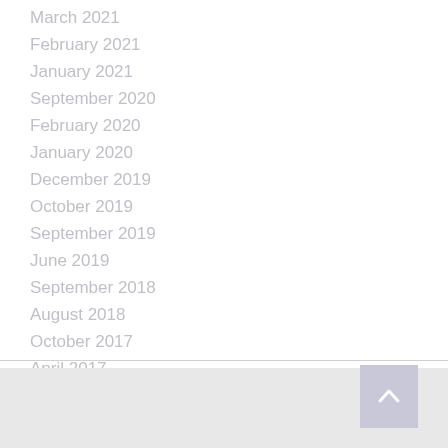March 2021
February 2021
January 2021
September 2020
February 2020
January 2020
December 2019
October 2019
September 2019
June 2019
September 2018
August 2018
October 2017
April 2017
August 2016